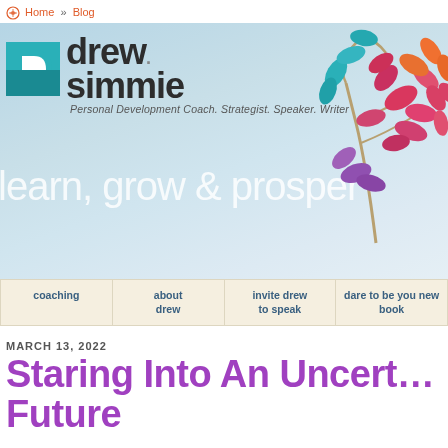Home » Blog
[Figure (illustration): Drew Simmie website banner with logo (teal D icon and 'drew simmie' text), tagline 'Personal Development Coach. Strategist. Speaker. Writer', slogan 'learn, grow & prosper', and decorative colorful leaf tree on the right]
coaching | about drew | invite drew to speak | dare to be you new book
MARCH 13, 2022
Staring Into An Uncertain Future